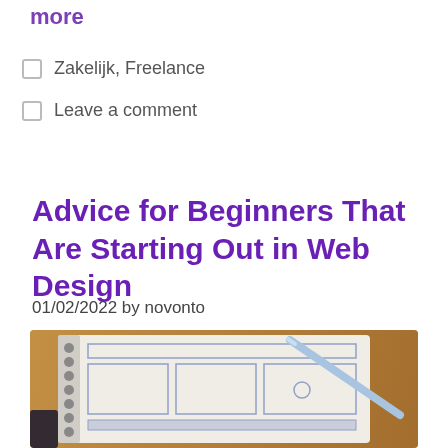more
Zakelijk, Freelance
Leave a comment
Advice for Beginners That Are Starting Out in Web Design
01/02/2022 by novonto
[Figure (photo): A spiral-bound notebook open to a wireframe sketch layout page, with a pen resting on it, on a wooden desk surface. A phone is partially visible at the bottom left.]